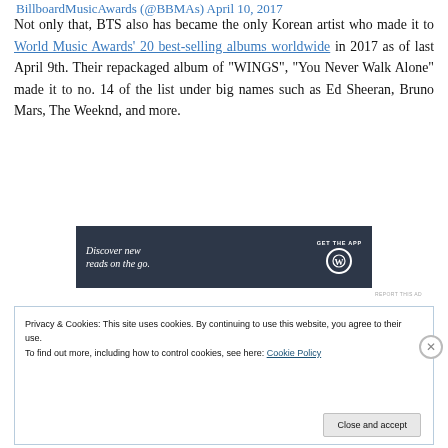BillboardMusicAwards (@BBMAs) April 10, 2017
Not only that, BTS also has became the only Korean artist who made it to World Music Awards' 20 best-selling albums worldwide in 2017 as of last April 9th. Their repackaged album of “WINGS”, “You Never Walk Alone” made it to no. 14 of the list under big names such as Ed Sheeran, Bruno Mars, The Weeknd, and more.
[Figure (screenshot): Advertisement banner: dark background with text 'Discover new reads on the go.' and 'GET THE APP' with WordPress logo icon]
REPORT THIS AD
Privacy & Cookies: This site uses cookies. By continuing to use this website, you agree to their use.
To find out more, including how to control cookies, see here: Cookie Policy
Close and accept